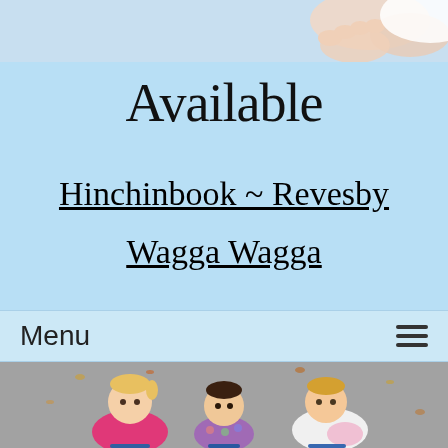[Figure (photo): Partial photo of a person (hands/upper body visible) on a light blue sky background, cropped at top]
Available
Hinchinbook ~ Revesby
Wagga Wagga
Menu
[Figure (photo): Three toddler children sitting/crouching on a pavement outdoors, playing. One in pink, one in floral jacket, one in white. Autumn leaves on ground.]